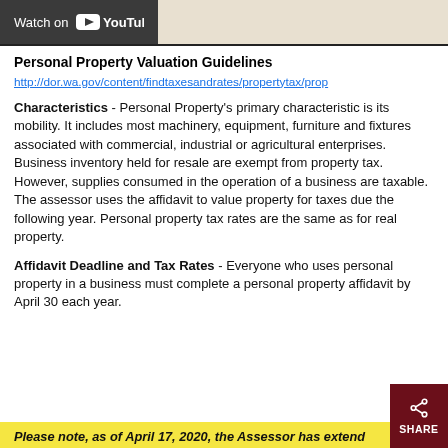[Figure (screenshot): YouTube logo / Watch on YouTube bar at top]
Personal Property Valuation Guidelines
http://dor.wa.gov/content/findtaxesandrates/propertytax/prop
Characteristics - Personal Property's primary characteristic is its mobility. It includes most machinery, equipment, furniture and fixtures associated with commercial, industrial or agricultural enterprises. Business inventory held for resale are exempt from property tax. However, supplies consumed in the operation of a business are taxable. The assessor uses the affidavit to value property for taxes due the following year. Personal property tax rates are the same as for real property.
Affidavit Deadline and Tax Rates - Everyone who uses personal property in a business must complete a personal property affidavit by April 30 each year.
Please note, as of April 17, 2020, the Assessor has extend